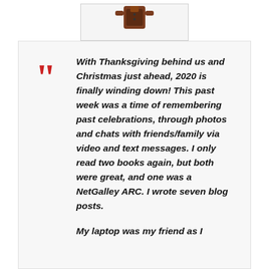[Figure (illustration): Partial illustration visible at top of page, appears to show a figure/character, cropped with border box]
With Thanksgiving behind us and Christmas just ahead, 2020 is finally winding down!  This past week was a time of remembering past celebrations, through photos and chats with friends/family via video and text messages.  I only read two books again, but both were great, and one was a NetGalley ARC.  I wrote seven blog posts.

My laptop was my friend as I